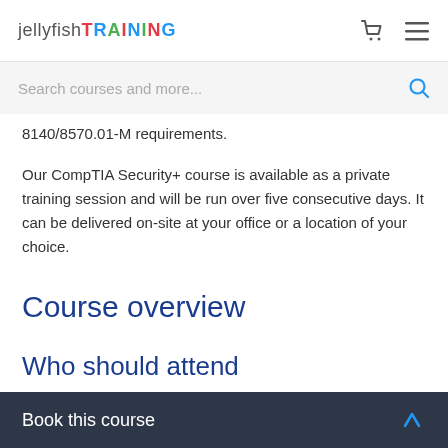jellyfish TRAINING
Search courses and more...
8140/8570.01-M requirements.
Our CompTIA Security+ course is available as a private training session and will be run over five consecutive days. It can be delivered on-site at your office or a location of your choice.
Course overview
Who should attend
Book this course